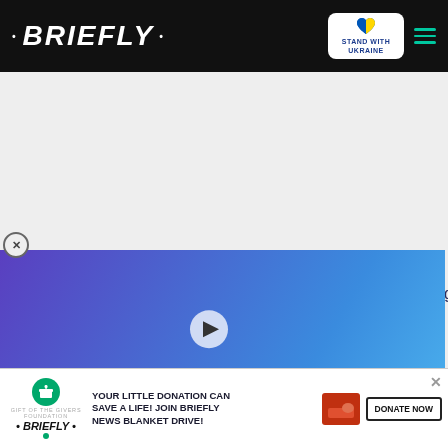• BRIEFLY •
[Figure (screenshot): Briefly news website screenshot showing header with logo, Stand with Ukraine badge, hamburger menu, a video ad overlay showing Friends TV show characters with play button and 'ARE NEW REPORTS REAL?' label, partial article text about 'coming up and the spoils have / flag reports that the Tito / ger to buying himself lavish / ear', and a donation banner at the bottom reading 'YOUR LITTLE DONATION CAN SAVE A LIFE! JOIN BRIEFLY NEWS BLANKET DRIVE!' with DONATE NOW button.]